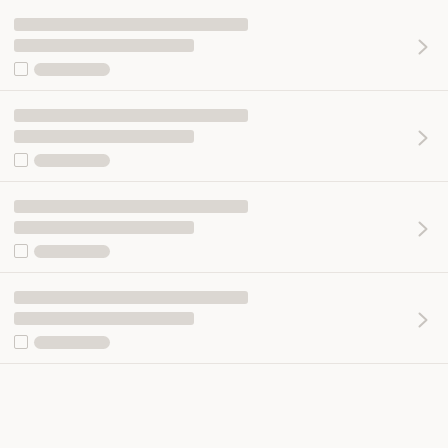[redacted list item 1]
[redacted list item 2]
[redacted list item 3]
[redacted list item 4]